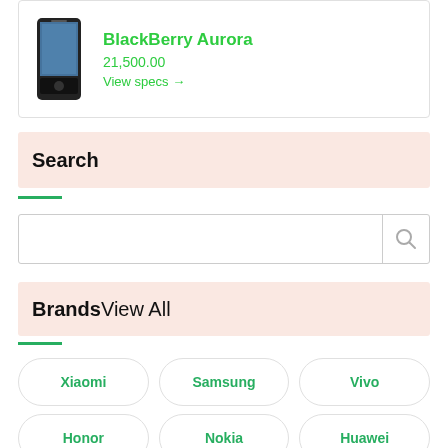[Figure (photo): BlackBerry Aurora smartphone product image]
BlackBerry Aurora
21,500.00
View specs →
Search
[Figure (screenshot): Search input box with magnifying glass icon]
BrandsView All
Xiaomi
Samsung
Vivo
Honor
Nokia
Huawei
Apple
Oppo
Motorola